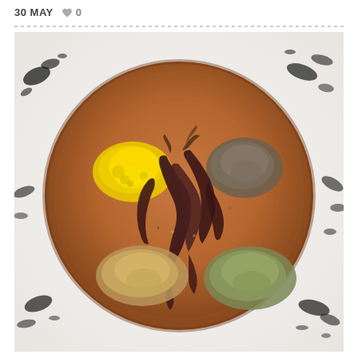30 MAY  ♥ 0
[Figure (photo): Overhead view of a round terracotta wooden plate on a white marble surface, displaying various ground spices: yellow turmeric powder on the upper left, dark dried red chili peppers in the center, grayish-brown ground pepper/spice on upper right, light brown ground cumin or coriander on lower left, and greenish-gray ground herb spice on the lower right.]